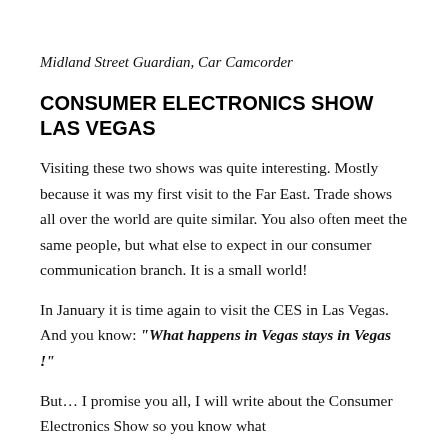[Figure (photo): Two car camcorder devices shown partially at the top of the page]
Midland Street Guardian, Car Camcorder
CONSUMER ELECTRONICS SHOW LAS VEGAS
Visiting these two shows was quite interesting. Mostly because it was my first visit to the Far East. Trade shows all over the world are quite similar. You also often meet the same people, but what else to expect in our consumer communication branch. It is a small world!
In January it is time again to visit the CES in Las Vegas. And you know: “What happens in Vegas stays in Vegas !”
But… I promise you all, I will write about the Consumer Electronics Show so you know what